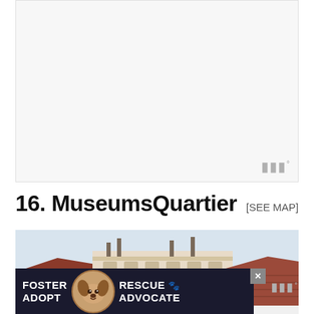[Figure (other): Large blank/white map or image area with a watermark symbol in the bottom right corner]
16. MuseumsQuartier
[SEE MAP]
[Figure (photo): Photograph of historic Viennese building facade with ornate architecture and terracotta roof tiles against a light sky]
[Figure (photo): Advertisement overlay: FOSTER ADOPT on left, dog photo in center, RESCUE ADVOCATE on right with close button]